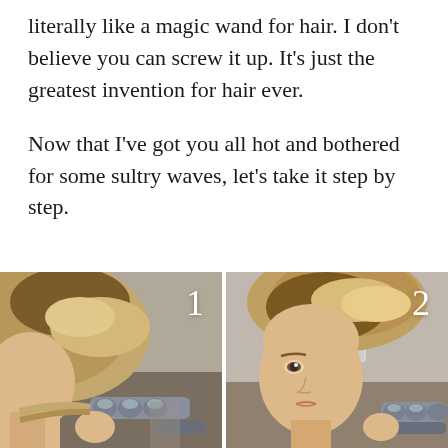literally like a magic wand for hair. I don't believe you can screw it up. It's just the greatest invention for hair ever.
Now that I've got you all hot and bothered for some sultry waves, let's take it step by step.
[Figure (photo): Step 1: Woman using a triple barrel hair waver tool on her hair, shown from the side/back. The tool is gray with three cylindrical barrels.]
[Figure (photo): Step 2: Same woman facing slightly forward, showing her face and the waved hair result, still holding the gray triple barrel hair waver near her neck.]